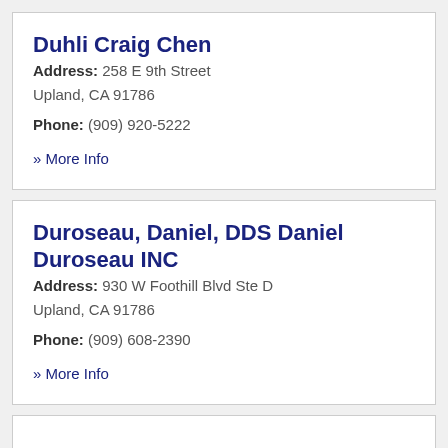Duhli Craig Chen
Address: 258 E 9th Street
Upland, CA 91786
Phone: (909) 920-5222
» More Info
Duroseau, Daniel, DDS Daniel Duroseau INC
Address: 930 W Foothill Blvd Ste D
Upland, CA 91786
Phone: (909) 608-2390
» More Info